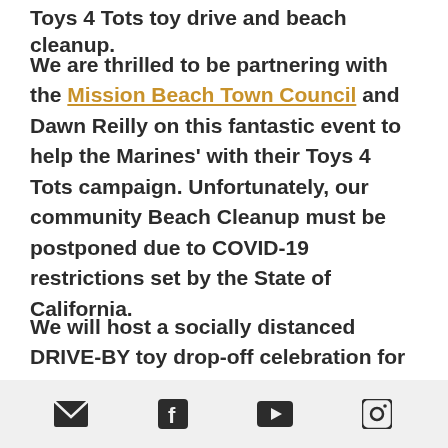Toys 4 Tots toy drive and beach cleanup.
We are thrilled to be partnering with the Mission Beach Town Council and Dawn Reilly on this fantastic event to help the Marines' with their Toys 4 Tots campaign. Unfortunately, our community Beach Cleanup must be postponed due to COVID-19 restrictions set by the State of California.
We will host a socially distanced DRIVE-BY toy drop-off celebration for Toys for Tots.
We will be set-up at the loading zone on the west end of the parking lot
[email icon] [facebook icon] [youtube icon] [instagram icon]